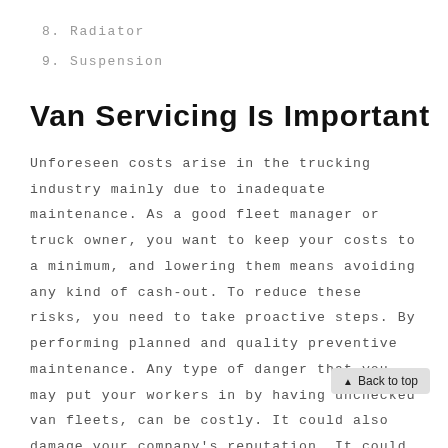8. Radiator
9. Suspension
Van Servicing Is Important
Unforeseen costs arise in the trucking industry mainly due to inadequate maintenance. As a good fleet manager or truck owner, you want to keep your costs to a minimum, and lowering them means avoiding any kind of cash-out. To reduce these risks, you need to take proactive steps. By performing planned and quality preventive maintenance. Any type of danger that you may put your workers in by having unchecked van fleets, can be costly. It could also damage your company's reputation. It could cause